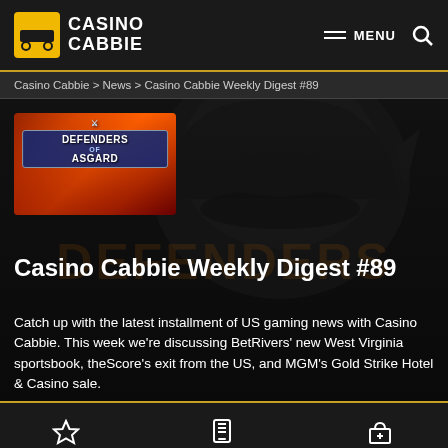Casino Cabbie | MENU
Casino Cabbie > News > Casino Cabbie Weekly Digest #89
[Figure (screenshot): Hero banner with Defenders of Asgard game logo image on left, dark Viking helmet silhouette background, 'DEFENDERS' watermark text]
Casino Cabbie Weekly Digest #89
Catch up with the latest installment of US gaming news with Casino Cabbie. This week we're discussing BetRivers' new West Virginia sportsbook, theScore's exit from the US, and MGM's Gold Strike Hotel & Casino sale.
REVIEWS | MOBILE CASINOS | BONUSES